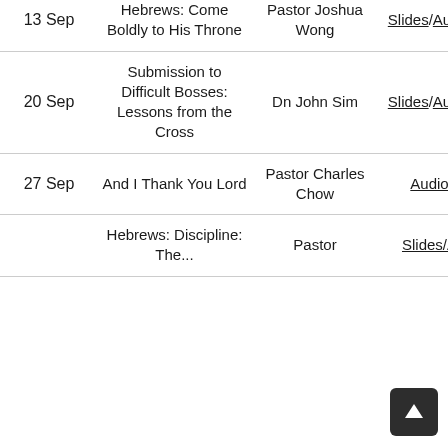| Date | Title | Speaker | Resources |
| --- | --- | --- | --- |
| 13 Sep | Hebrews: Come Boldly to His Throne | Pastor Joshua Wong | Slides/Audio |
| 20 Sep | Submission to Difficult Bosses: Lessons from the Cross | Dn John Sim | Slides/Audio |
| 27 Sep | And I Thank You Lord | Pastor Charles Chow | Audio |
|  | Hebrews: Discipline: The... | Pastor | Slides/... |